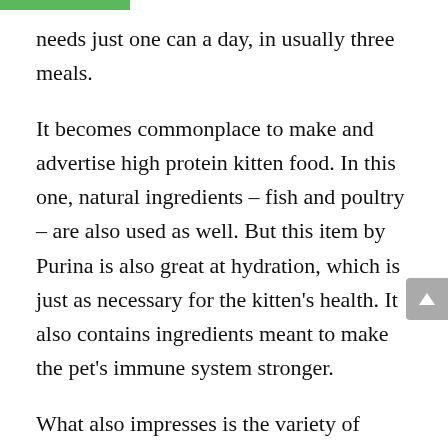needs just one can a day, in usually three meals.
It becomes commonplace to make and advertise high protein kitten food. In this one, natural ingredients – fish and poultry – are also used as well. But this item by Purina is also great at hydration, which is just as necessary for the kitten's health. It also contains ingredients meant to make the pet's immune system stronger.
What also impresses is the variety of flavors. There are chicken & liver, salmon, tuna, ocean whitefish in different variations. And, of course, you can buy a variety pack that contains various pieces to learn what your pets appreciate the most. If you prefer grain-free kitten foods, there is one too, chicken-